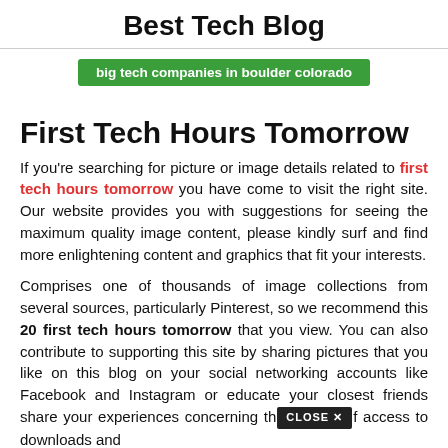Best Tech Blog
big tech companies in boulder colorado
First Tech Hours Tomorrow
If you're searching for picture or image details related to first tech hours tomorrow you have come to visit the right site. Our website provides you with suggestions for seeing the maximum quality image content, please kindly surf and find more enlightening content and graphics that fit your interests.
Comprises one of thousands of image collections from several sources, particularly Pinterest, so we recommend this 20 first tech hours tomorrow that you view. You can also contribute to supporting this site by sharing pictures that you like on this blog on your social networking accounts like Facebook and Instagram or educate your closest friends share your experiences concerning the access to downloads and their information over content.